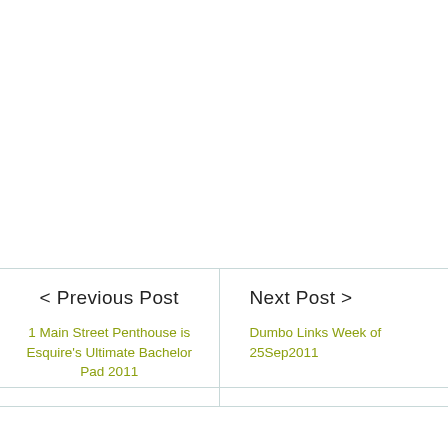< Previous Post
1 Main Street Penthouse is Esquire's Ultimate Bachelor Pad 2011
Next Post >
Dumbo Links Week of 25Sep2011